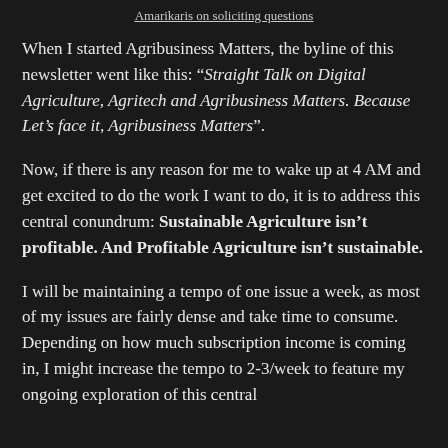Amarikaris on soliciting questions
When I started Agribusiness Matters, the byline of this newsletter went like this: “Straight Talk on Digital Agriculture, Agritech and Agribusiness Matters. Because Let’s face it, Agribusiness Matters”.
Now, if there is any reason for me to wake up at 4 AM and get excited to do the work I want to do, it is to address this central conundrum: Sustainable Agriculture isn’t profitable. And Profitable Agriculture isn’t sustainable.
I will be maintaining a tempo of one issue a week, as most of my issues are fairly dense and take time to consume. Depending on how much subscription income is coming in, I might increase the tempo to 2-3/week to feature my ongoing exploration of this central